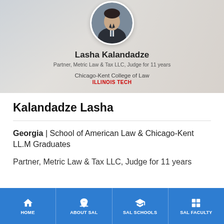[Figure (photo): Circular profile photo of Lasha Kalandadze, a man in a suit and tie, with a blurred background showing other people.]
Lasha Kalandadze
Partner, Metric Law & Tax LLC, Judge for 11 years
Chicago-Kent College of Law
ILLINOIS TECH
Kalandadze Lasha
Georgia | School of American Law & Chicago-Kent LL.M Graduates
Partner, Metric Law & Tax LLC, Judge for 11 years
HOME | ABOUT SAL | SAL SCHOOLS | SAL FACULTY